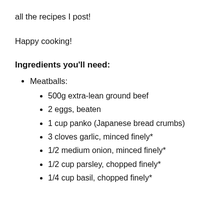all the recipes I post!
Happy cooking!
Ingredients you’ll need:
Meatballs:
500g extra-lean ground beef
2 eggs, beaten
1 cup panko (Japanese bread crumbs)
3 cloves garlic, minced finely*
1/2 medium onion, minced finely*
1/2 cup parsley, chopped finely*
1/4 cup basil, chopped finely*